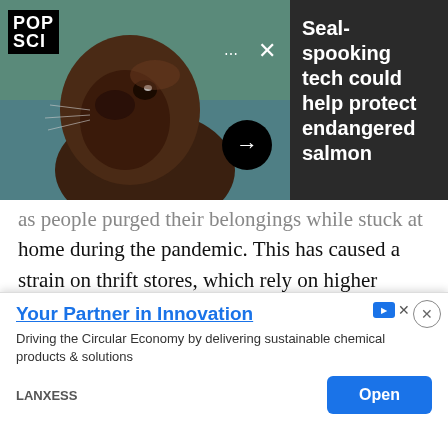[Figure (photo): A sea lion / seal looking upward, photographed close-up with a blurred teal water background. Overlaid with POP SCI logo, progress bar, close button, and navigation arrow. Adjacent dark panel shows article headline.]
Seal-spooking tech could help protect endangered salmon
as people purged their belongings while stuck at home during the pandemic. This has caused a strain on thrift stores, which rely on higher quality donations to make money and are increasingly having to pay to have trash hauled away.
While you shouldn't donate household items that are obviously trash or are hazardous (in the aforementioned … s materi … se), the qu …
[Figure (screenshot): Ad overlay: 'Your Partner in Innovation' by LANXESS. 'Driving the Circular Economy by delivering sustainable chemical products & solutions'. Open button in blue. Ad close controls visible.]